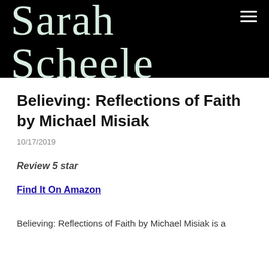Sarah Scheele
Believing: Reflections of Faith by Michael Misiak
10/17/2019
Review 5 star
Find It On Amazon
Believing: Reflections of Faith by Michael Misiak is a